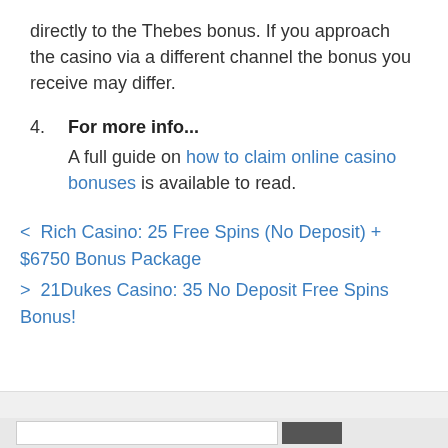directly to the Thebes bonus. If you approach the casino via a different channel the bonus you receive may differ.
4. For more info... A full guide on how to claim online casino bonuses is available to read.
< Rich Casino: 25 Free Spins (No Deposit) + $6750 Bonus Package
> 21Dukes Casino: 35 No Deposit Free Spins Bonus!